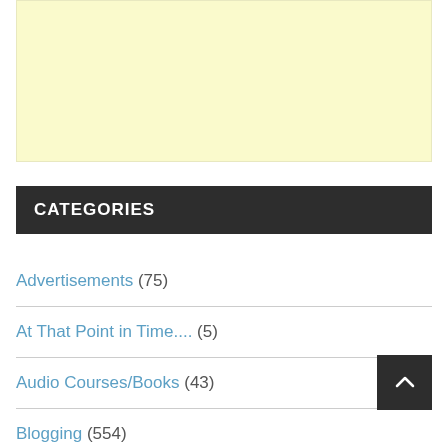[Figure (other): Yellow/cream colored advertisement banner placeholder]
CATEGORIES
Advertisements (75)
At That Point in Time.... (5)
Audio Courses/Books (43)
Blogging (554)
Book Report (1,000+)